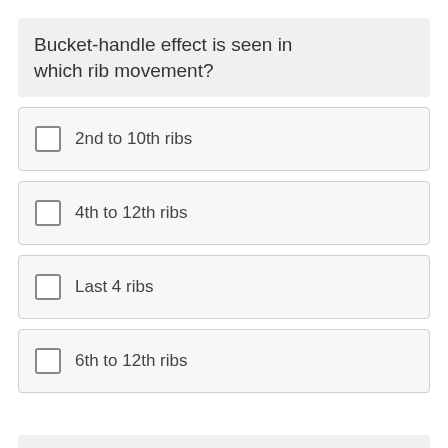Bucket-handle effect is seen in which rib movement?
2nd to 10th ribs
4th to 12th ribs
Last 4 ribs
6th to 12th ribs
Pump-handle effect is exhibited by which ribs?